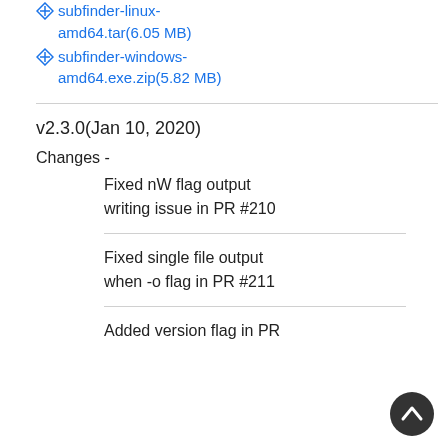subfinder-linux-amd64.tar(6.05 MB)
subfinder-windows-amd64.exe.zip(5.82 MB)
v2.3.0(Jan 10, 2020)
Changes -
Fixed nW flag output writing issue in PR #210
Fixed single file output when -o flag in PR #211
Added version flag in PR